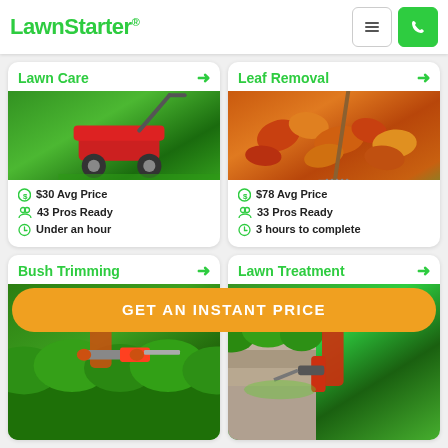LawnStarter®
Lawn Care →
[Figure (photo): Red lawn mower on bright green grass]
$ $30 Avg Price
👥 43 Pros Ready
⏳ Under an hour
Leaf Removal →
[Figure (photo): Pile of autumn leaves being raked with a metal rake on green grass]
$ $78 Avg Price
👥 33 Pros Ready
⏳ 3 hours to complete
Bush Trimming →
[Figure (photo): Person trimming green bushes with electric hedge trimmer]
Lawn Treatment →
[Figure (photo): Person applying lawn treatment near stone wall with green shrubs]
GET AN INSTANT PRICE